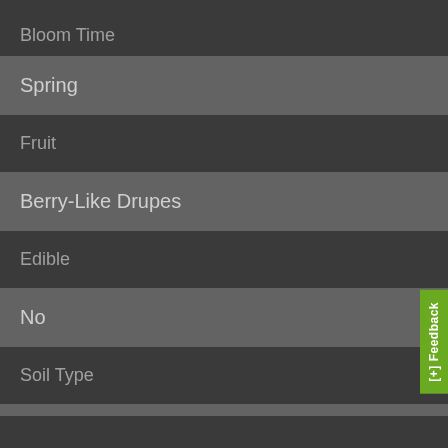Bloom Time
Spring
Fruit
Berry-Like Drupes
Edible
No
Soil Type
Average